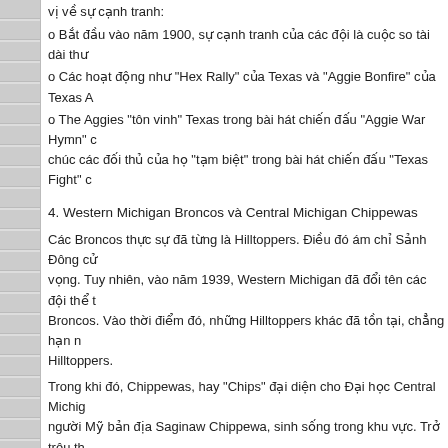vị về sự cạnh tranh:
o Bắt đầu vào năm 1900, sự cạnh tranh của các đội là cuộc so tài dài thư
o Các hoạt động như "Hex Rally" của Texas và "Aggie Bonfire" của Texas A
o The Aggies "tôn vinh" Texas trong bài hát chiến đấu "Aggie War Hymn" c chúc các đối thủ của họ "tạm biệt" trong bài hát chiến đấu "Texas Fight" c
4. Western Michigan Broncos và Central Michigan Chippewas
Các Broncos thực sự đã từng là Hilltoppers. Điều đó ám chỉ Sảnh Đông cử vọng. Tuy nhiên, vào năm 1939, Western Michigan đã đổi tên các đội thể t Broncos. Vào thời điểm đó, những Hilltoppers khác đã tồn tại, chẳng hạn n Hilltoppers.
Trong khi đó, Chippewas, hay "Chips" đại diện cho Đại học Central Michig người Mỹ bản địa Saginaw Chippewa, sinh sống trong khu vực. Trở trêu th duy trì mối quan hệ xây dựng với người Mỹ da đỏ, vào năm 2005, NCAA đ danh sách biệt danh "thù địch" hoặc "lạm dụng". Tuy nhiên, Central Michig bản án
Trò chơi bóng đá tuyệt vời
By Peter | Business